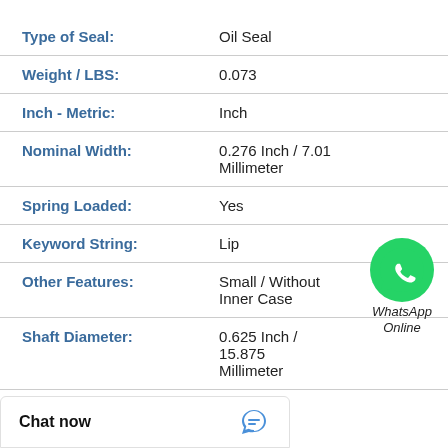| Field | Value |
| --- | --- |
| Type of Seal: | Oil Seal |
| Weight / LBS: | 0.073 |
| Inch - Metric: | Inch |
| Nominal Width: | 0.276 Inch / 7.01 Millimeter |
| Spring Loaded: | Yes |
| Keyword String: | Lip |
| Other Features: | Small / Without Inner Case |
| Shaft Diameter: | 0.625 Inch / 15.875 Millimeter |